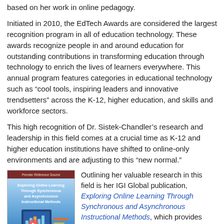based on her work in online pedagogy.
Initiated in 2010, the EdTech Awards are considered the largest recognition program in all of education technology. These awards recognize people in and around education for outstanding contributions in transforming education through technology to enrich the lives of learners everywhere. This annual program features categories in educational technology such as “cool tools, inspiring leaders and innovative trendsetters” across the K-12, higher education, and skills and workforce sectors.
This high recognition of Dr. Sistek-Chandler’s research and leadership in this field comes at a crucial time as K-12 and higher education institutions have shifted to online-only environments and are adjusting to this “new normal.”
[Figure (illustration): Book cover of 'Exploring Online Learning Through Synchronous and Asynchronous Instructional Methods', an IGI Global publication with a blue gradient cover showing digital learning graphics.]
Outlining her valuable research in this field is her IGI Global publication, Exploring Online Learning Through Synchronous and Asynchronous Instructional Methods, which provides relevant and detailed research on the applications of synchronous and asynchronous instructional pedagogies and discusses why they are critical to the design and implementation of contemporary online courses. This publication covers critical topics including student engagement, adaptive learning, online instruction, webcast, virtual learning, and more, making it an ideal reference for online